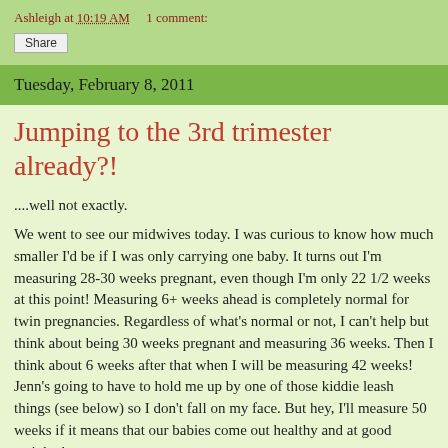Ashleigh at 10:19 AM    1 comment:
Share
Tuesday, February 8, 2011
Jumping to the 3rd trimester already?!
....well not exactly.
We went to see our midwives today. I was curious to know how much smaller I'd be if I was only carrying one baby. It turns out I'm measuring 28-30 weeks pregnant, even though I'm only 22 1/2 weeks at this point! Measuring 6+ weeks ahead is completely normal for twin pregnancies. Regardless of what's normal or not, I can't help but think about being 30 weeks pregnant and measuring 36 weeks. Then I think about 6 weeks after that when I will be measuring 42 weeks! Jenn's going to have to hold me up by one of those kiddie leash things (see below) so I don't fall on my face. But hey, I'll measure 50 weeks if it means that our babies come out healthy and at good weights!